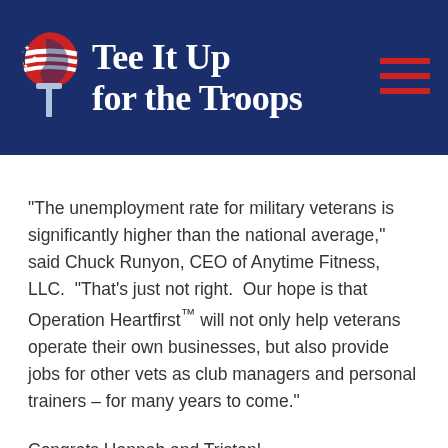[Figure (logo): Tee It Up for the Troops logo — navy blue banner with a golf tee topped by a patriotic red-white-blue globe/head silhouette, bold white serif text 'Tee It Up for the Troops', and a red hamburger-menu icon on the right]
“The unemployment rate for military veterans is significantly higher than the national average,” said Chuck Runyon, CEO of Anytime Fitness, LLC. “That’s just not right. Our hope is that Operation Heartfirst™ will not only help veterans operate their own businesses, but also provide jobs for other vets as club managers and personal trainers – for many years to come.”
Congrats Hannah and Tristan!